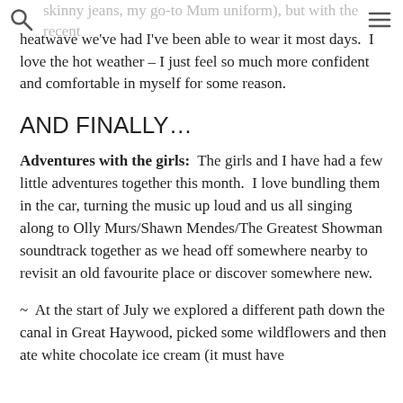skinny jeans, my go-to Mum uniform), but with the recent heatwave we've had I've been able to wear it most days.  I love the hot weather – I just feel so much more confident and comfortable in myself for some reason.
AND FINALLY…
Adventures with the girls:  The girls and I have had a few little adventures together this month.  I love bundling them in the car, turning the music up loud and us all singing along to Olly Murs/Shawn Mendes/The Greatest Showman soundtrack together as we head off somewhere nearby to revisit an old favourite place or discover somewhere new.
~  At the start of July we explored a different path down the canal in Great Haywood, picked some wildflowers and then ate white chocolate ice cream (it must have